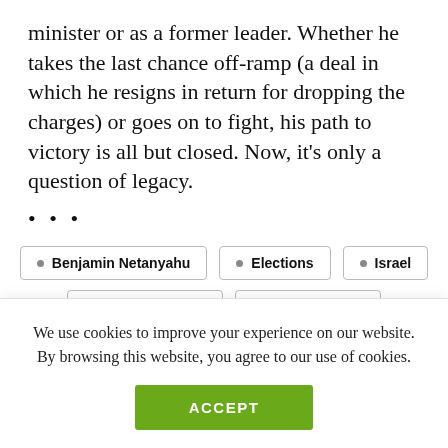minister or as a former leader. Whether he takes the last chance off-ramp (a deal in which he resigns in return for dropping the charges) or goes on to fight, his path to victory is all but closed. Now, it’s only a question of legacy.
•••
Benjamin Netanyahu
Elections
Israel
Israeli Elections
Prime Minister
We use cookies to improve your experience on our website. By browsing this website, you agree to our use of cookies.
ACCEPT